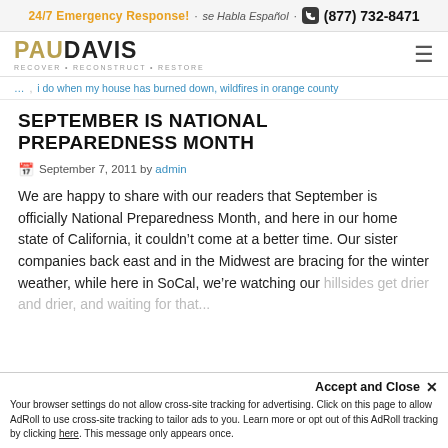24/7 Emergency Response! · se Habla Español · (877) 732-8471
[Figure (logo): Paul Davis logo with tagline RECOVER • RECONSTRUCT • RESTORE]
i do when my house has burned down, wildfires in orange county
SEPTEMBER IS NATIONAL PREPAREDNESS MONTH
September 7, 2011 by admin
We are happy to share with our readers that September is officially National Preparedness Month, and here in our home state of California, it couldn't come at a better time. Our sister companies back east and in the Midwest are bracing for the winter weather, while here in SoCal, we're watching our hillsides get drier and drier, and waiting for that...
Accept and Close ✕ Your browser settings do not allow cross-site tracking for advertising. Click on this page to allow AdRoll to use cross-site tracking to tailor ads to you. Learn more or opt out of this AdRoll tracking by clicking here. This message only appears once.